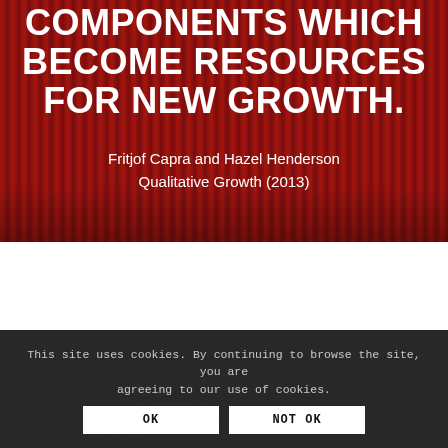COMPONENTS WHICH BECOME RESOURCES FOR NEW GROWTH.
Fritjof Capra and Hazel Henderson
Qualitative Growth (2013)
[Figure (photo): Red background with vertical stripe texture pattern, dark reddish abstract image]
TRANSITION TO AN INTEGRATIVE REGENERATIVE LOGIC
This site uses cookies. By continuing to browse the site, you are agreeing to our use of cookies.